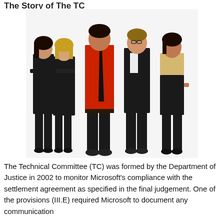The Story of The TC
[Figure (photo): Group photo of five business professionals standing together; two women on the left in black suits, a man in the center in a red shirt with tie, a man in a black suit to his right, and a woman on the far right in a beige blazer with black pants.]
The Technical Committee (TC) was formed by the Department of Justice in 2002 to monitor Microsoft's compliance with the settlement agreement as specified in the final judgement. One of the provisions (III.E) required Microsoft to document any communication and conduct that occurred between Microsoft's employees